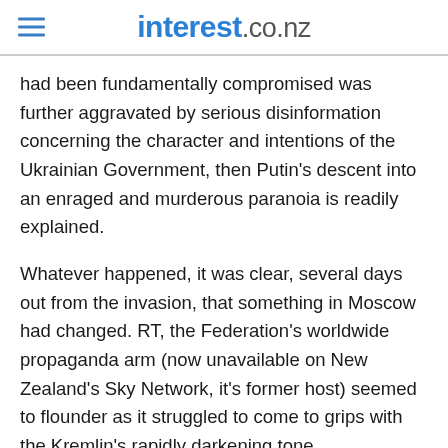interest.co.nz
had been fundamentally compromised was further aggravated by serious disinformation concerning the character and intentions of the Ukrainian Government, then Putin's descent into an enraged and murderous paranoia is readily explained.
Whatever happened, it was clear, several days out from the invasion, that something in Moscow had changed. RT, the Federation's worldwide propaganda arm (now unavailable on New Zealand's Sky Network, it's former host) seemed to flounder as it struggled to come to grips with the Kremlin's rapidly darkening tone.
Up until Putin's rambling history lecture of 22 February, immediately followed by the recognition of the Donetsk